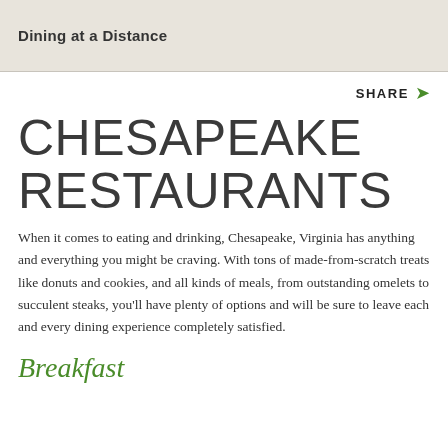Dining at a Distance
CHESAPEAKE RESTAURANTS
When it comes to eating and drinking, Chesapeake, Virginia has anything and everything you might be craving. With tons of made-from-scratch treats like donuts and cookies, and all kinds of meals, from outstanding omelets to succulent steaks, you'll have plenty of options and will be sure to leave each and every dining experience completely satisfied.
Breakfast